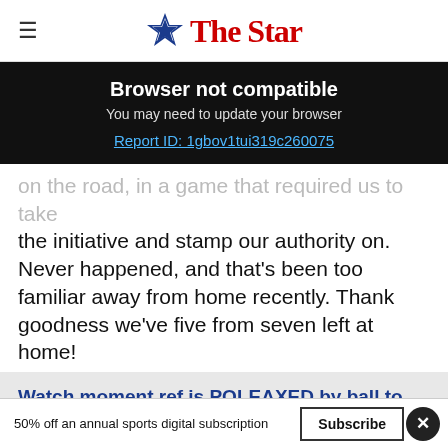The Star
Browser not compatible
You may need to update your browser
Report ID: 1gbov1tui319c260075
on the road, in a game that required us to take the initiative and stamp our authority on. Never happened, and that's been too familiar away from home recently. Thank goodness we've five from seven left at home!
Watch moment ref is POLEAXED by ball to face during United's defeat at Stoke
50% off an annual sports digital subscription